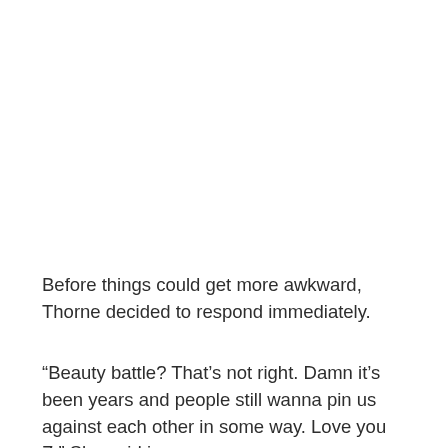Before things could get more awkward, Thorne decided to respond immediately.
“Beauty battle? That’s not right. Damn it’s been years and people still wanna pin us against each other in some way. Love you Z.” She said in